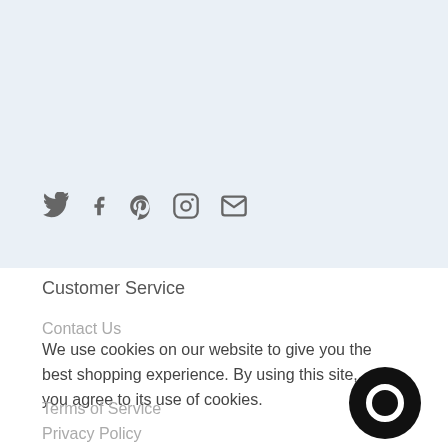[Figure (other): Social media icons: Twitter bird, Facebook f, Pinterest p, Instagram camera, Email envelope — all in gray]
Customer Service
Contact Us
We use cookies on our website to give you the best shopping experience. By using this site, you agree to its use of cookies.
Terms of Service
Privacy Policy
[Figure (logo): Black circular chat/messenger icon]